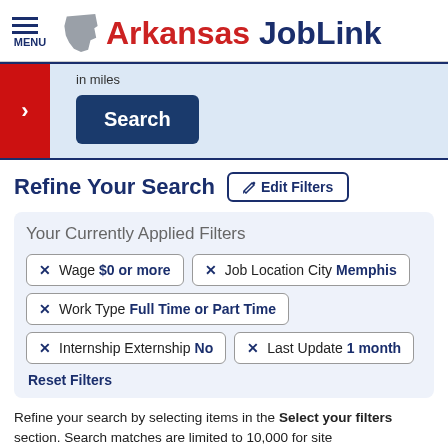MENU | Arkansas JobLink
in miles
Search
Refine Your Search
Edit Filters
Your Currently Applied Filters
× Wage $0 or more
× Job Location City Memphis
× Work Type Full Time or Part Time
× Internship Externship No
× Last Update 1 month
Reset Filters
Refine your search by selecting items in the Select your filters section. Search matches are limited to 10,000 for site